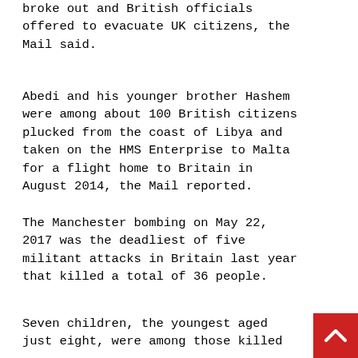broke out and British officials offered to evacuate UK citizens, the Mail said.
Abedi and his younger brother Hashem were among about 100 British citizens plucked from the coast of Libya and taken on the HMS Enterprise to Malta for a flight home to Britain in August 2014, the Mail reported.
The Manchester bombing on May 22, 2017 was the deadliest of five militant attacks in Britain last year that killed a total of 36 people.
Seven children, the youngest aged just eight, were among those killed